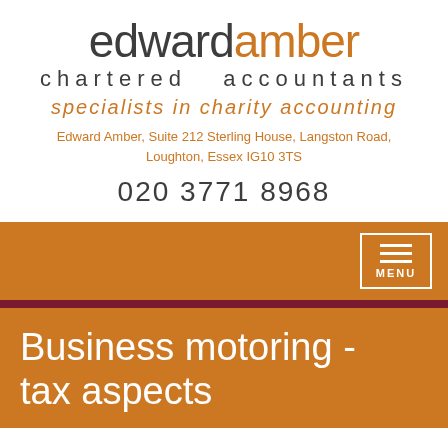[Figure (logo): Edward Amber Chartered Accountants logo with 'edward' in dark grey and 'amber' in orange, followed by 'chartered accountants' in spaced dark grey text and 'specialists in charity accounting' in orange italic]
Edward Amber, Suite 212 Sterling House, Langston Road, Loughton, Essex IG10 3TS
020 3771 8968
[Figure (screenshot): Orange navigation bar with a white-bordered MENU button on the right side containing three horizontal lines and the word MENU]
Business motoring - tax aspects